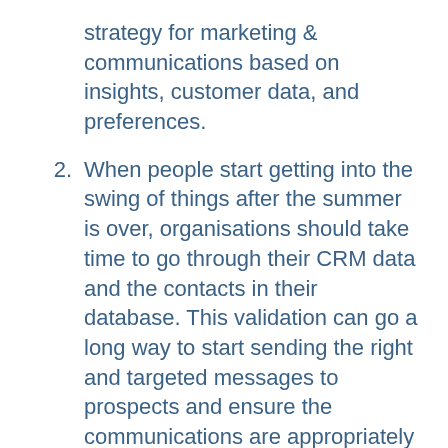strategy for marketing & communications based on insights, customer data, and preferences.
2. When people start getting into the swing of things after the summer is over, organisations should take time to go through their CRM data and the contacts in their database. This validation can go a long way to start sending the right and targeted messages to prospects and ensure the communications are appropriately lined up.
3. It would any day make sense to find out what other times are important and special to prospects. This would help you